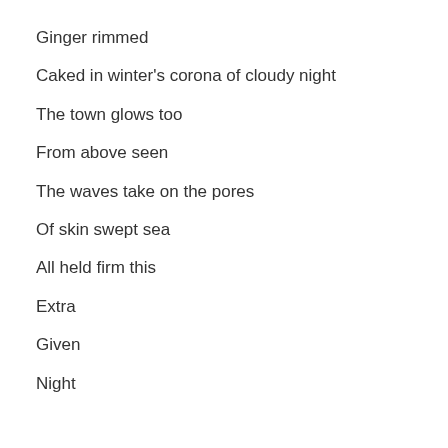Ginger rimmed
Caked in winter's corona of cloudy night
The town glows too
From above seen
The waves take on the pores
Of skin swept sea
All held firm this
Extra
Given
Night